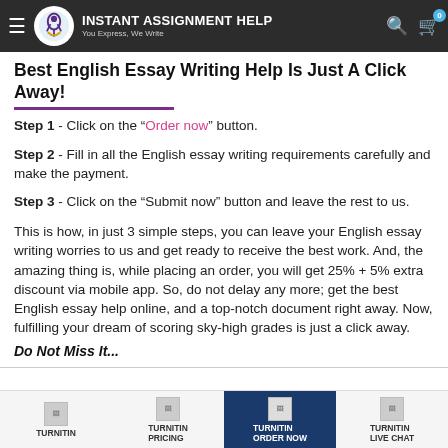INSTANT ASSIGNMENT HELP — You Express, We Write
Best English Essay Writing Help Is Just A Click Away!
Step 1 - Click on the "Order now" button.
Step 2 - Fill in all the English essay writing requirements carefully and make the payment.
Step 3 - Click on the "Submit now" button and leave the rest to us.
This is how, in just 3 simple steps, you can leave your English essay writing worries to us and get ready to receive the best work. And, the amazing thing is, while placing an order, you will get 25% + 5% extra discount via mobile app. So, do not delay any more; get the best English essay help online, and a top-notch document right away. Now, fulfilling your dream of scoring sky-high grades is just a click away.
Do Not Miss It...
TURNITIN | TURNITIN PRICING | ORDER NOW | TURNITIN LIVE CHAT